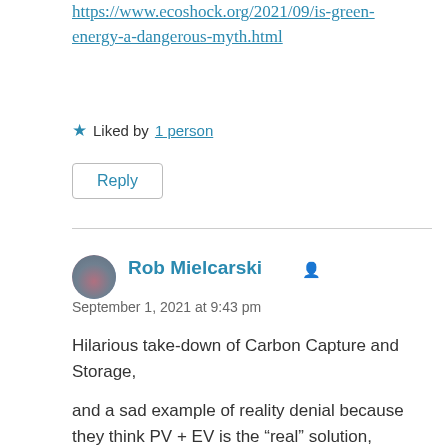https://www.ecoshock.org/2021/09/is-green-energy-a-dangerous-myth.html
★ Liked by 1 person
Reply
Rob Mielcarski
September 1, 2021 at 9:43 pm
Hilarious take-down of Carbon Capture and Storage,
and a sad example of reality denial because they think PV + EV is the “real” solution,